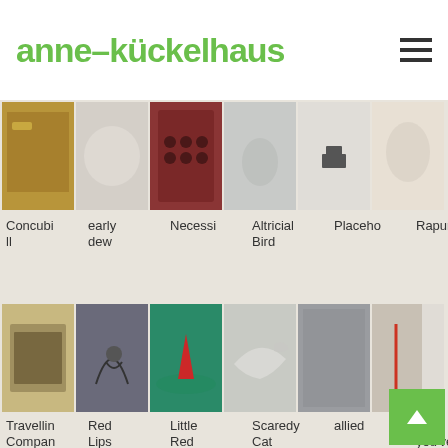anne–kückelhaus
[Figure (photo): Grid of artwork thumbnails - row 1: Concubill, early dew, Necessi, Altricial Bird, Placeho, Rapunze]
Concubill
early dew
Necessi
Altricial Bird
Placeho
Rapunze
[Figure (photo): Grid of artwork thumbnails - row 2: Travellin Compan, Red Lips kiss better, Little Red Riding Hood, Scaredy Cat (German Scardy-Rabbit), allied, Fox, you've stolen the goose (German ch so)]
Travellin Compan
Red Lips kiss better
Little Red Riding Hood
Scaredy Cat (German Scardy-Rabbit)
allied
Fox, you've stolen the goose (German ch so
[Figure (photo): Partial row of artwork thumbnails at bottom]